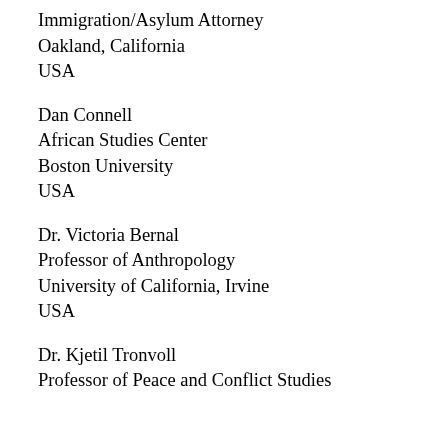Immigration/Asylum Attorney
Oakland, California
USA
Dan Connell
African Studies Center
Boston University
USA
Dr. Victoria Bernal
Professor of Anthropology
University of California, Irvine
USA
Dr. Kjetil Tronvoll
Professor of Peace and Conflict Studies